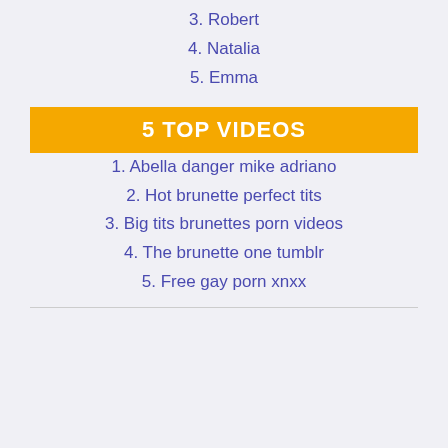3. Robert
4. Natalia
5. Emma
5 TOP VIDEOS
1. Abella danger mike adriano
2. Hot brunette perfect tits
3. Big tits brunettes porn videos
4. The brunette one tumblr
5. Free gay porn xnxx